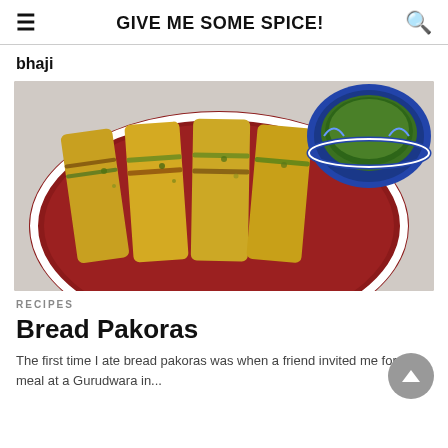GIVE ME SOME SPICE!
bhaji
[Figure (photo): A red decorative plate with sliced bread pakoras (golden fried bread sandwiches with vegetable filling) and a blue ceramic bowl of green chutney in the background on a grey surface.]
RECIPES
Bread Pakoras
The first time I ate bread pakoras was when a friend invited me for a meal at a Gurudwara in...